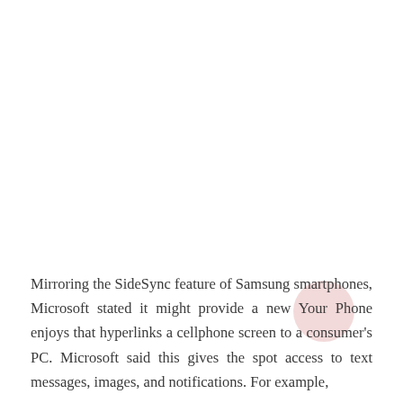Mirroring the SideSync feature of Samsung smartphones, Microsoft stated it might provide a new Your Phone enjoys that hyperlinks a cellphone screen to a consumer's PC. Microsoft said this gives the spot access to text messages, images, and notifications. For example,